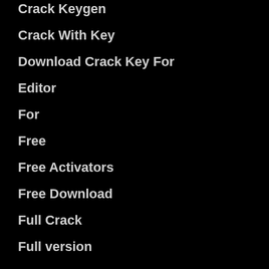Crack Keygen
Crack With Key
Download Crack Key For
Editor
For
Free
Free Activators
Free Download
Full Crack
Full version